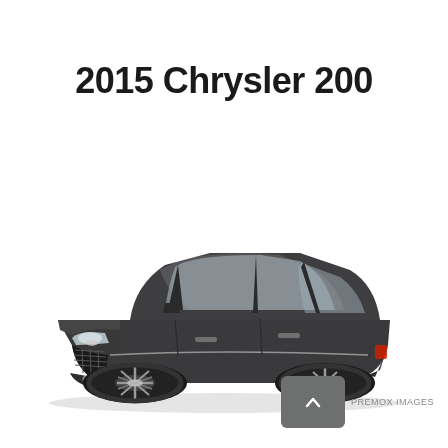2015 Chrysler 200
[Figure (photo): Front three-quarter view of a dark gray 2015 Chrysler 200 sedan on a white background, showing the front grille, headlights, hood, side profile, alloy wheels, and rear quarter panel.]
[Figure (other): Gray rounded square button with an upward-pointing chevron arrow, with small text 'PREMOX IMAGES' to the right.]